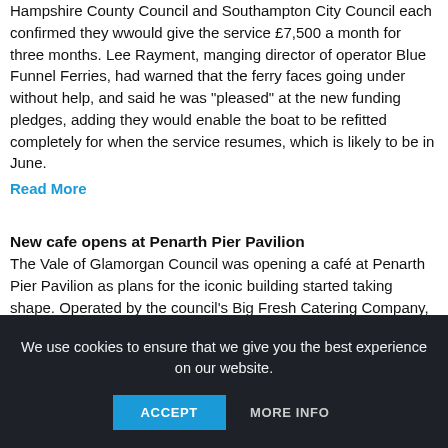keep the Hythe Ferry timetable. Test District Council, Hampshire County Council and Southampton City Council each confirmed they wwould give the service £7,500 a month for three months. Lee Rayment, manging director of operator Blue Funnel Ferries, had warned that the ferry faces going under without help, and said he was "pleased" at the new funding pledges, adding they would enable the boat to be refitted completely for when the service resumes, which is likely to be in June.
Read More
New cafe opens at Penarth Pier Pavilion
The Vale of Glamorgan Council was opening a café at Penarth Pier Pavilion as plans for the iconic building started taking shape. Operated by the council's Big Fresh Catering Company, the café would offer a range of drinks, including own-brand coffee blends, and a menu featuring locally-sourced ingredients where possible. Items would initially be available on a take-away only basis, with space for...
We use cookies to ensure that we give you the best experience on our website.